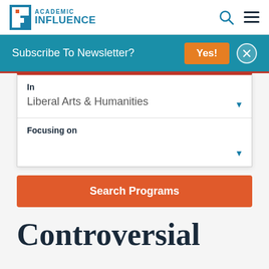[Figure (logo): Academic Influence logo with stylized 'i' icon and teal text]
Subscribe To Newsletter?
Yes!
In
Liberal Arts & Humanities
Focusing on
Search Programs
Controversial